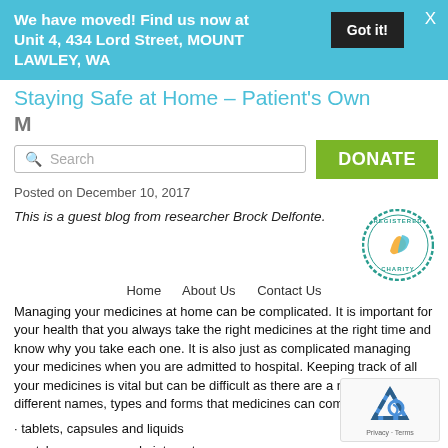We have moved! Find us now at Unit 4, 434 Lord Street, MOUNT LAWLEY, WA
Staying Safe at Home – Patient's Own Medicines
Posted on December 10, 2017
This is a guest blog from researcher Brock Delfonte.
Home   About Us   Contact Us
Managing your medicines at home can be complicated. It is important for your health that you always take the right medicines at the right time and know why you take each one. It is also just as complicated managing your medicines when you are admitted to hospital. Keeping track of all your medicines is vital but can be difficult as there are a number of different names, types and forms that medicines can come in, including:
· tablets, capsules and liquids
· patches, creams and ointments
· drops and sprays for eyes, nose, ears and throat